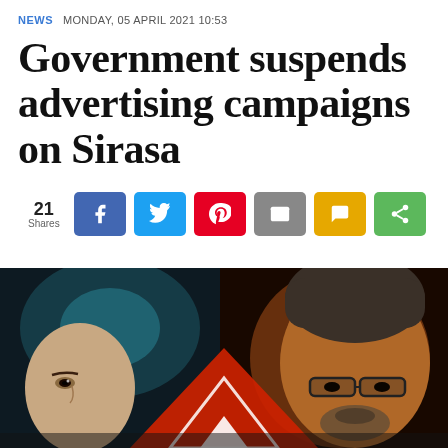NEWS   MONDAY, 05 APRIL 2021 10:53
Government suspends advertising campaigns on Sirasa
[Figure (infographic): Social share bar showing 21 Shares with Facebook, Twitter, Pinterest, Email, SMS, and Share buttons]
[Figure (photo): Close-up photo of two people: a woman on the left and an older man with glasses on the right, with a red triangle graphic element in the center foreground]